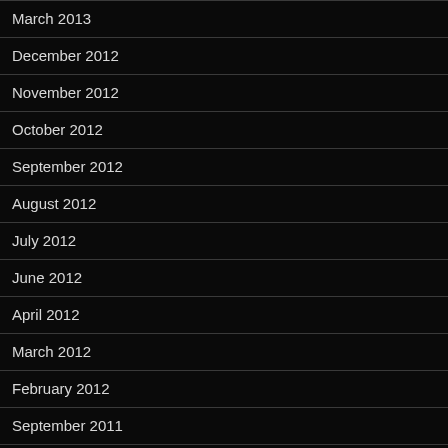March 2013
December 2012
November 2012
October 2012
September 2012
August 2012
July 2012
June 2012
April 2012
March 2012
February 2012
September 2011
August 2011